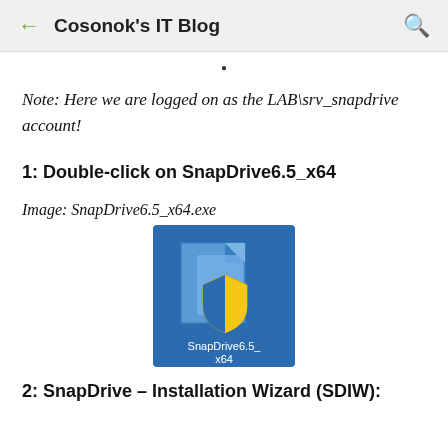Cosonok's IT Blog
Note: Here we are logged on as the LAB\srv_snapdrive account!
1: Double-click on SnapDrive6.5_x64
Image: SnapDrive6.5_x64.exe
[Figure (screenshot): Windows file icon for SnapDrive6.5_x64.exe showing a blue installer icon with a UAC shield overlay, labeled 'SnapDrive6.5_ x64']
2: SnapDrive - Installation Wizard (SDIW):